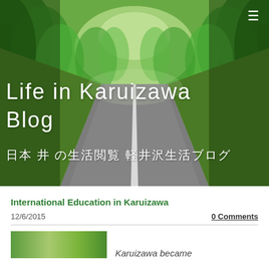[Figure (photo): Forest road photograph with lush green trees lining a paved road leading into the distance, used as hero/banner background for a blog]
Life in Karuizawa Blog
日本 井 の生活閲覧 軽井沢生活ブログ
International Education in Karuizawa
12/6/2015
0 Comments
Karuizawa became